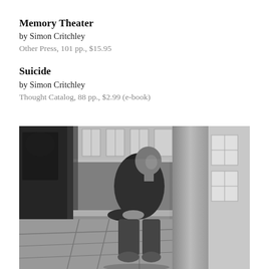Memory Theater
by Simon Critchley
Other Press, 101 pp., $15.95
Suicide
by Simon Critchley
Thought Catalog, 88 pp., $2.99 (e-book)
[Figure (photo): Black and white photograph of a bald man dressed in black, seated and leaning on a surface, in an architectural setting with columns and windows, looking to one side.]